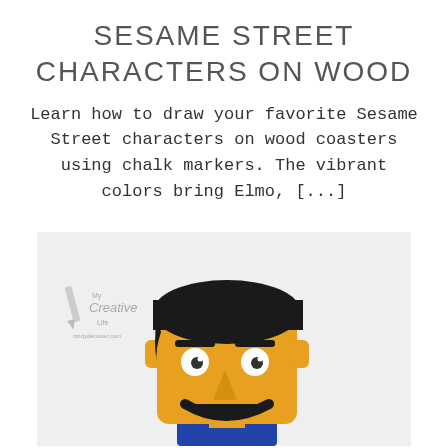SESAME STREET CHARACTERS ON WOOD
Learn how to draw your favorite Sesame Street characters on wood coasters using chalk markers. The vibrant colors bring Elmo, [...]
[Figure (photo): A clay or puppet figure resembling Bert from Sesame Street — a yellow rectangular face with dark hair, googly eyes, a triangular nose, dark eyebrows, and a wide smile, wearing a blue shirt. The image includes a watermark reading 'My Creative Life cindyderosier.com'.]